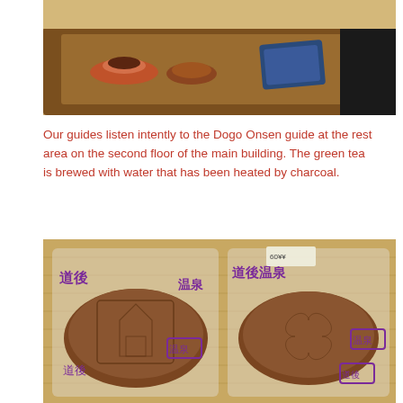[Figure (photo): Photo of a wooden tray with green tea cups and a small bowl at a rest area, with a person in a black shirt visible in the background.]
Our guides listen intently to the Dogo Onsen guide at the rest area on the second floor of the main building. The green tea is brewed with water that has been heated by charcoal.
[Figure (photo): Photo of two Japanese manju (sweet buns) in plastic packaging with purple Japanese kanji text printed on the bags, placed on a woven mat surface.]